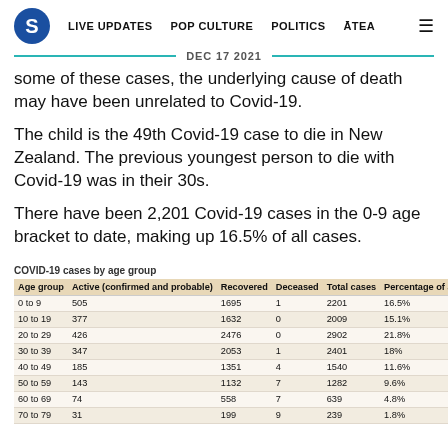S  LIVE UPDATES  POP CULTURE  POLITICS  ĀTEA  ≡
DEC 17 2021
some of these cases, the underlying cause of death may have been unrelated to Covid-19.
The child is the 49th Covid-19 case to die in New Zealand. The previous youngest person to die with Covid-19 was in their 30s.
There have been 2,201 Covid-19 cases in the 0-9 age bracket to date, making up 16.5% of all cases.
COVID-19 cases by age group
| Age group | Active (confirmed and probable) | Recovered | Deceased | Total cases | Percentage of all cases |
| --- | --- | --- | --- | --- | --- |
| 0 to 9 | 505 | 1695 | 1 | 2201 | 16.5% |
| 10 to 19 | 377 | 1632 | 0 | 2009 | 15.1% |
| 20 to 29 | 426 | 2476 | 0 | 2902 | 21.8% |
| 30 to 39 | 347 | 2053 | 1 | 2401 | 18% |
| 40 to 49 | 185 | 1351 | 4 | 1540 | 11.6% |
| 50 to 59 | 143 | 1132 | 7 | 1282 | 9.6% |
| 60 to 69 | 74 | 558 | 7 | 639 | 4.8% |
| 70 to 79 | 31 | 199 | 9 | 239 | 1.8% |